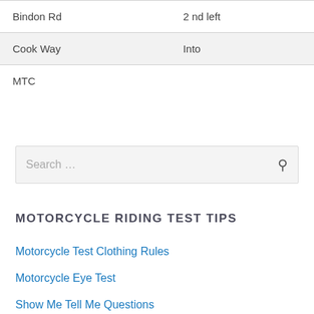| Bindon Rd | 2 nd left |
| Cook Way | Into |
| MTC |  |
Search ...
MOTORCYCLE RIDING TEST TIPS
Motorcycle Test Clothing Rules
Motorcycle Eye Test
Show Me Tell Me Questions